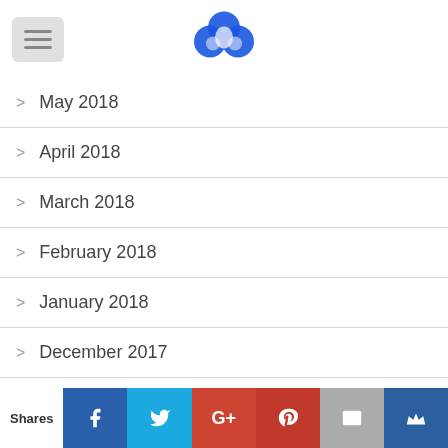Navigation header with menu button and logo
> May 2018
> April 2018
> March 2018
> February 2018
> January 2018
> December 2017
> November 2017
Shares | Facebook | Twitter | G+ | Pinterest | Email | Crown